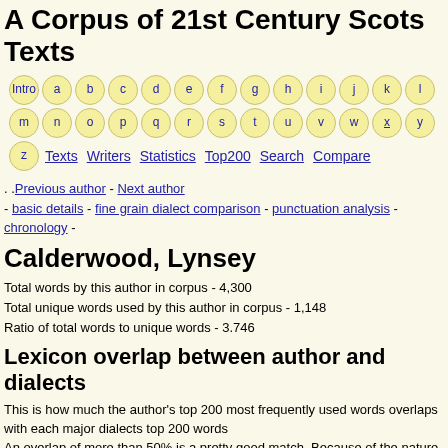A Corpus of 21st Century Scots Texts
Intro a b c d e f g h i j k l m n o p q r s t u v w x y z Texts Writers Statistics Top200 Search Compare
. .Previous author - Next author - basic details - fine grain dialect comparison - punctuation analysis - chronology -
Calderwood, Lynsey
Total words by this author in corpus - 4,300
Total unique words used by this author in corpus - 1,148
Ratio of total words to unique words - 3.746
Lexicon overlap between author and dialects
This is how much the author's top 200 most frequently used words overlaps with each major dialects top 200 words
An overlap of more than 50% is a pretty good match. Because of the nature of the top 200 words, almost no-one has an overlap of more than 70%, they'd have to be writing about a really broad range of things, like body parts, working, playing, thinking, governance, and so on.
On average Scots writers overlap with English by about 27%, so this is perhaps an indication on where on the Scots - Scottish English spectrum a